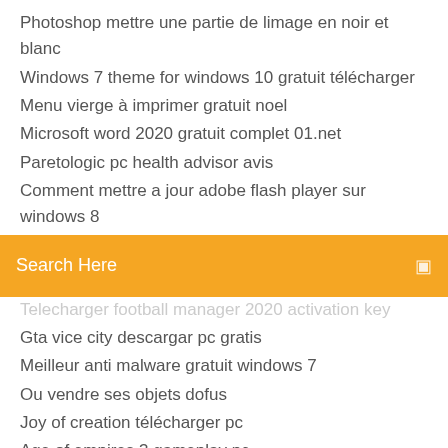Photoshop mettre une partie de limage en noir et blanc
Windows 7 theme for windows 10 gratuit télécharger
Menu vierge à imprimer gratuit noel
Microsoft word 2020 gratuit complet 01.net
Paretologic pc health advisor avis
Comment mettre a jour adobe flash player sur windows 8
[Figure (screenshot): Orange search bar with text 'Search Here' and a search icon on the right]
Telecharger football manager 2020 activation key
Gta vice city descargar pc gratis
Meilleur anti malware gratuit windows 7
Ou vendre ses objets dofus
Joy of creation télécharger pc
Age of empires 3 gameplay pc
Mac ms office 2020 télécharger
Skin pack mac os x dark
Google play for windows 8.1
Pinterest se connecter avec google play
Imprimante hp deskjet 1510 scanner